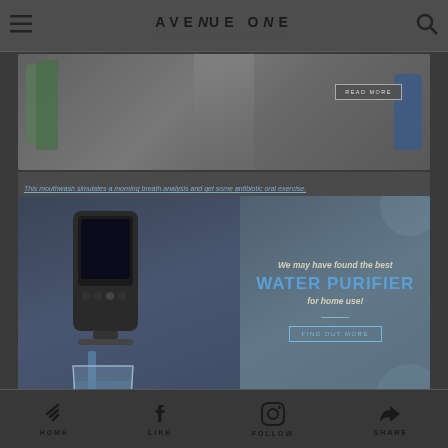AVENUE ONE — YOUR AFTER-WORK GUIDE
[Figure (photo): Product photo showing dental/oral care products including mouthwash bottles and a toothbrush on a surface]
This mouthwash simulates a morning breath analysis and get some antibiotic oral exercise.
[Figure (photo): Water purifier device with digital display panel on left, and a glass being filled with water on right. Blue water splash decorative elements in background.]
We may have found the best WATER PURIFIER for home use!
HOME  LIKE  FOLLOW  SHARE